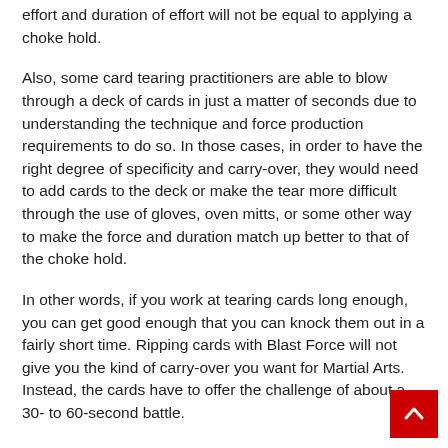effort and duration of effort will not be equal to applying a choke hold.
Also, some card tearing practitioners are able to blow through a deck of cards in just a matter of seconds due to understanding the technique and force production requirements to do so. In those cases, in order to have the right degree of specificity and carry-over, they would need to add cards to the deck or make the tear more difficult through the use of gloves, oven mitts, or some other way to make the force and duration match up better to that of the choke hold.
In other words, if you work at tearing cards long enough, you can get good enough that you can knock them out in a fairly short time. Ripping cards with Blast Force will not give you the kind of carry-over you want for Martial Arts. Instead, the cards have to offer the challenge of about a 30- to 60-second battle.
For beginners, Card Tearing can be a great way to work the grip for excellent carry-over to sports, especially sports such as the Martial Arts, because it takes most people several weeks to several months of dedicated to training to attain the mastery card tearing to blow through a deck in a matter of seconds. Most of the time, the tear from beginning to